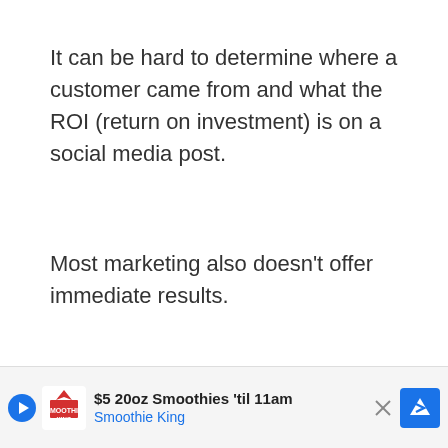It can be hard to determine where a customer came from and what the ROI (return on investment) is on a social media post.
Most marketing also doesn't offer immediate results.
Someone who sees your helpful Instagram post likely...
[Figure (other): Advertisement banner for Smoothie King: '$5 20oz Smoothies til 11am' with play button, Smoothie King logo, close button (X), and navigation arrow icon]